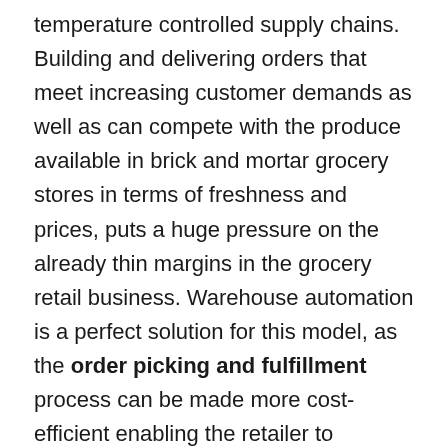temperature controlled supply chains. Building and delivering orders that meet increasing customer demands as well as can compete with the produce available in brick and mortar grocery stores in terms of freshness and prices, puts a huge pressure on the already thin margins in the grocery retail business. Warehouse automation is a perfect solution for this model, as the order picking and fulfillment process can be made more cost-efficient enabling the retailer to compete on prices as well as offer same-day delivery.
Efficiency: The spatial savings from reduced warehouse footprints can be up to 85% and reductions in operational costs of up to 65%. Space savings are achieved primarily through